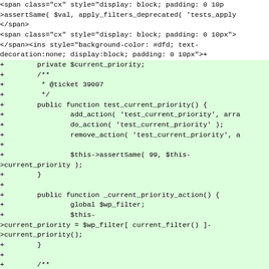Code diff showing PHP test class additions including test_current_priority, _current_priority_action, and test_other_priority methods with @ticket 39007 annotations.